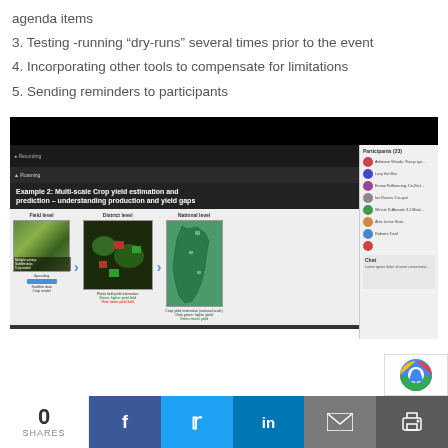agenda items
3. Testing -running “dry-runs” several times prior to the event
4. Incorporating other tools to compensate for limitations
5. Sending reminders to participants
[Figure (screenshot): Screenshot of a video conferencing session displaying a presentation slide titled 'Example 2: Multi-scale Crop yield estimation and prediction – understanding production and yield gaps' with diagrams showing field level, district level, and national level crop yield estimation maps, alongside a participants panel on the right.]
0 SHARES | Facebook | Twitter | LinkedIn | Email | Print